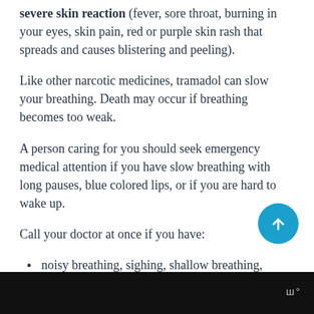severe skin reaction (fever, sore throat, burning in your eyes, skin pain, red or purple skin rash that spreads and causes blistering and peeling).
Like other narcotic medicines, tramadol can slow your breathing. Death may occur if breathing becomes too weak.
A person caring for you should seek emergency medical attention if you have slow breathing with long pauses, blue colored lips, or if you are hard to wake up.
Call your doctor at once if you have:
noisy breathing, sighing, shallow breathing,
w°